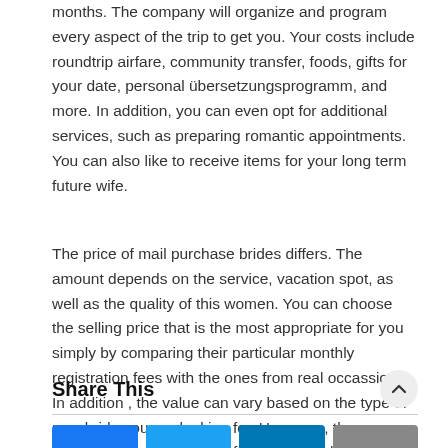months. The company will organize and program every aspect of the trip to get you. Your costs include roundtrip airfare, community transfer, foods, gifts for your date, personal übersetzungsprogramm, and more. In addition, you can even opt for additional services, such as preparing romantic appointments. You can also like to receive items for your long term future wife.
The price of mail purchase brides differs. The amount depends on the service, vacation spot, as well as the quality of this women. You can choose the selling price that is the most appropriate for you simply by comparing their particular monthly registration fees with the ones from real occassions. In addition , the value can vary based on the type of new bride you are looking for. However , the more time you spend searching for a lady, the lower your total mailbox order new bride pricing will probably be.
Share This